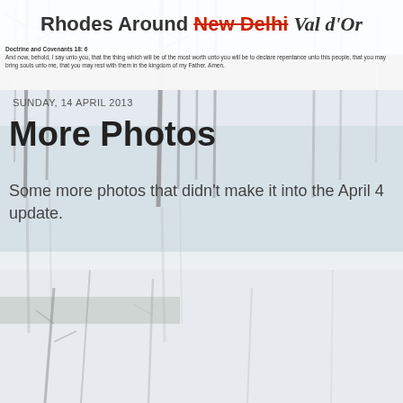[Figure (photo): Background photo of bare birch/aspen trees reflected in a still lake or pond, with light sky and coniferous treeline in background. Muted winter/early spring colours.]
Rhodes Around New Delhi Val d'Or
Doctrine and Covenants 18: 6
And now, behold, I say unto you, that the thing which will be of the most worth unto you will be to declare repentance unto this people, that you may bring souls unto me, that you may rest with them in the kingdom of my Father. Amen.
SUNDAY, 14 APRIL 2013
More Photos
Some more photos that didn't make it into the April 4 update.